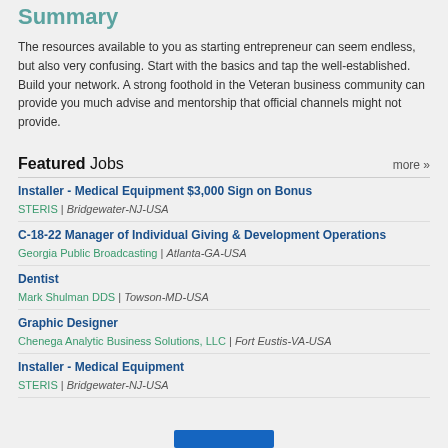Summary
The resources available to you as starting entrepreneur can seem endless, but also very confusing. Start with the basics and tap the well-established. Build your network. A strong foothold in the Veteran business community can provide you much advise and mentorship that official channels might not provide.
Featured Jobs
| Job Title | Company | Location |
| --- | --- | --- |
| Installer - Medical Equipment $3,000 Sign on Bonus | STERIS | Bridgewater-NJ-USA |
| C-18-22 Manager of Individual Giving & Development Operations | Georgia Public Broadcasting | Atlanta-GA-USA |
| Dentist | Mark Shulman DDS | Towson-MD-USA |
| Graphic Designer | Chenega Analytic Business Solutions, LLC | Fort Eustis-VA-USA |
| Installer - Medical Equipment | STERIS | Bridgewater-NJ-USA |